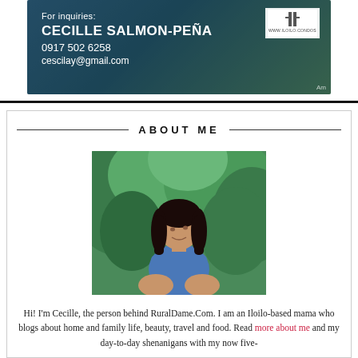[Figure (photo): Advertisement banner for Iloilo condos with contact details for Cecille Salmon-Peña, showing phone 0917 502 6258 and email cescilay@gmail.com, with a building/real estate background image and logo for www.iloilo.condos]
ABOUT ME
[Figure (photo): Portrait photo of a woman (Cecille) with long dark hair, wearing a blue shirt, sitting outdoors with green trees in the background, looking to the side]
Hi! I'm Cecille, the person behind RuralDame.Com. I am an Iloilo-based mama who blogs about home and family life, beauty, travel and food. Read more about me and my day-to-day shenanigans with my now five-